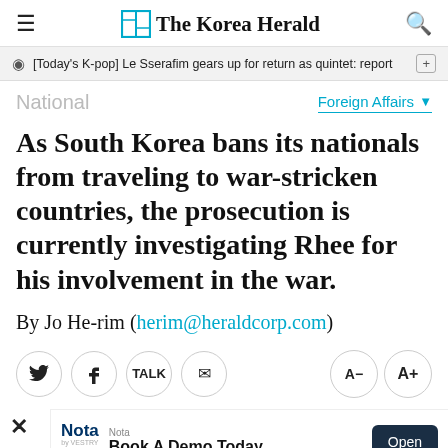The Korea Herald
[Today's K-pop] Le Sserafim gears up for return as quintet: report
National
Foreign Affairs
As South Korea bans its nationals from traveling to war-stricken countries, the prosecution is currently investigating Rhee for his involvement in the war.
By Jo He-rim (herim@heraldcorp.com)
Social share buttons: Twitter, Facebook, KakaoTalk, Email | Font size: A- A+
[Figure (screenshot): Advertisement banner for Nota app: 'Book A Demo Today' with Open button]